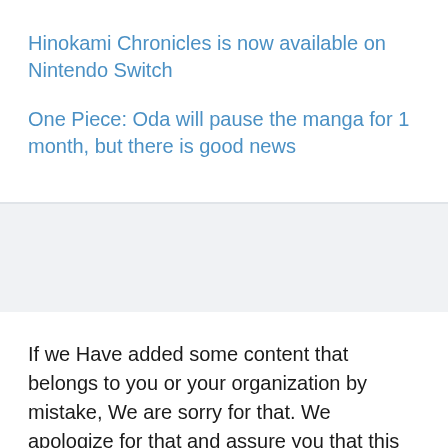Hinokami Chronicles is now available on Nintendo Switch
One Piece: Oda will pause the manga for 1 month, but there is good news
If we Have added some content that belongs to you or your organization by mistake, We are sorry for that. We apologize for that and assure you that this won't be